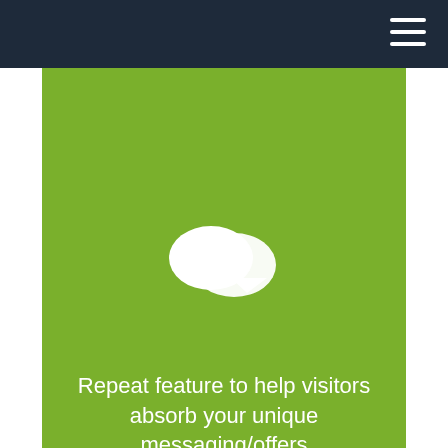[Figure (illustration): White chat bubble icons on green background — two overlapping speech bubbles]
Repeat feature to help visitors absorb your unique messaging/offers
[Figure (illustration): White monitor/computer screen icon on green background]